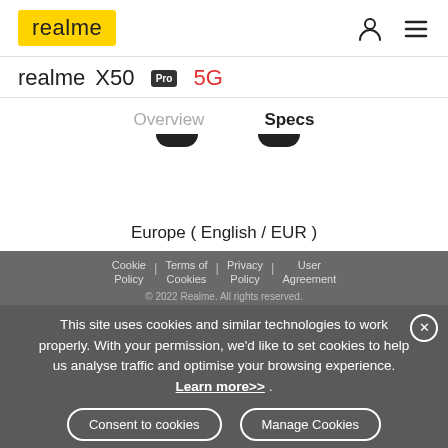[Figure (logo): realme logo in yellow box, top left]
realme X50 Pro 5G
Overview | Specs navigation tabs
Europe ( English / EUR )
Cookie Policy | Terms of Cookies | Privacy Policy | User Agreement | © 2022 Realme. All rights reserved.
This site uses cookies and similar technologies to work properly. With your permission, we'd like to set cookies to help us analyse traffic and optimise your browsing experience. Learn more>> .
Consent to cookies | Manage Cookies